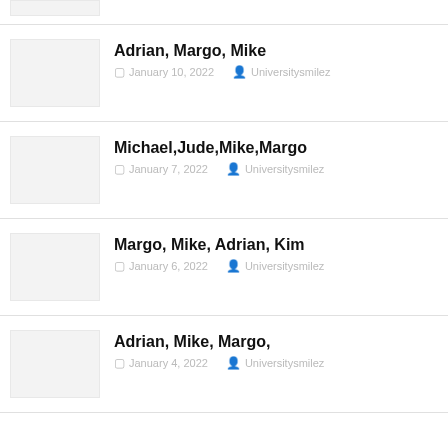Adrian, Margo, Mike
January 10, 2022  Universitysmilez
Michael,Jude,Mike,Margo
January 7, 2022  Universitysmilez
Margo, Mike, Adrian, Kim
January 6, 2022  Universitysmilez
Adrian, Mike, Margo,
January 4, 2022  Universitysmilez